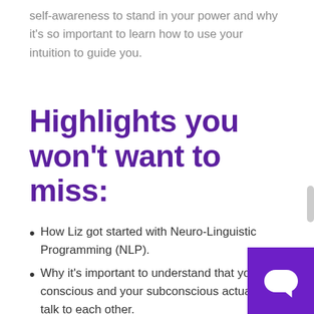self-awareness to stand in your power and why it's so important to learn how to use your intuition to guide you.
Highlights you won't want to miss:
How Liz got started with Neuro-Linguistic Programming (NLP).
Why it's important to understand that your conscious and your subconscious actually talk to each other.
How to use NLP to program yourself fo…